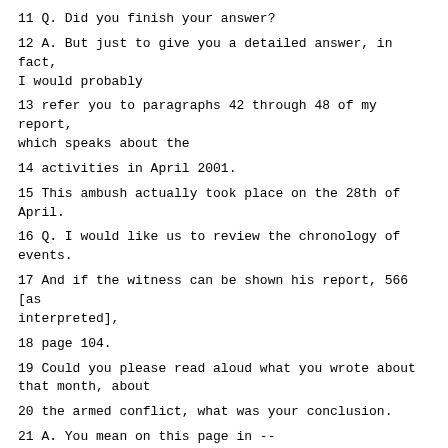11 Q. Did you finish your answer?
12 A. But just to give you a detailed answer, in fact, I would probably
13 refer you to paragraphs 42 through 48 of my report, which speaks about the
14 activities in April 2001.
15 This ambush actually took place on the 28th of April.
16 Q. I would like us to review the chronology of events.
17 And if the witness can be shown his report, 566 [as interpreted],
18 page 104.
19 Could you please read aloud what you wrote about that month, about
20 the armed conflict, what was your conclusion.
21 A. You mean on this page in --
22 Q. Where it starts with: "The armed conflict."
23 A. Okay. "The armed conflict in Macedonia can be